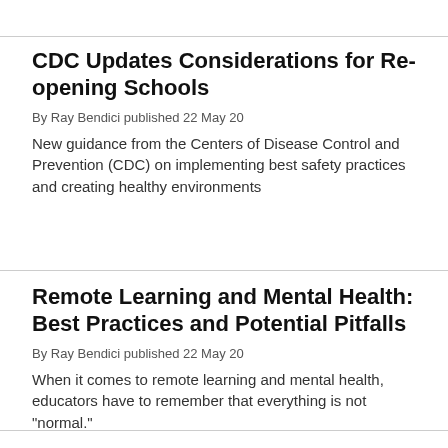CDC Updates Considerations for Re-opening Schools
By Ray Bendici published 22 May 20
New guidance from the Centers of Disease Control and Prevention (CDC) on implementing best safety practices and creating healthy environments
Remote Learning and Mental Health: Best Practices and Potential Pitfalls
By Ray Bendici published 22 May 20
When it comes to remote learning and mental health, educators have to remember that everything is not "normal."